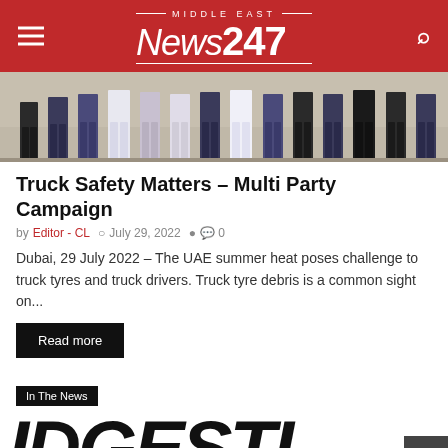MIDDLE EAST NEWS247
[Figure (photo): Group of people standing in a row outdoors, lower half visible showing jeans and traditional clothing]
Truck Safety Matters – Multi Party Campaign
by Editor - CL   July 29, 2022   0
Dubai, 29 July 2022 – The UAE summer heat poses challenge to truck tyres and truck drivers. Truck tyre debris is a common sight on...
Read more
In The News
[Figure (logo): Partial logo text reading IDGESTI in large bold black letters]